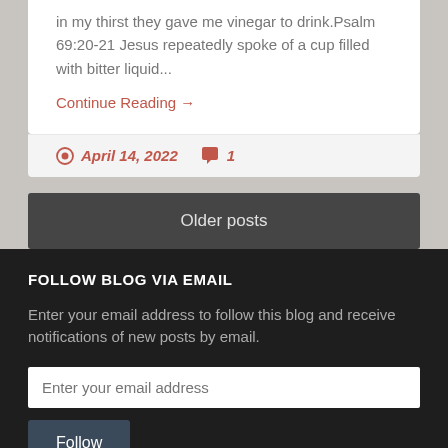in my thirst they gave me vinegar to drink.Psalm 69:20-21 Jesus repeatedly spoke of a cup filled with bitter liquid...
Continue Reading →
April 14, 2022  1
Older posts
FOLLOW BLOG VIA EMAIL
Enter your email address to follow this blog and receive notifications of new posts by email.
Enter your email address
Follow